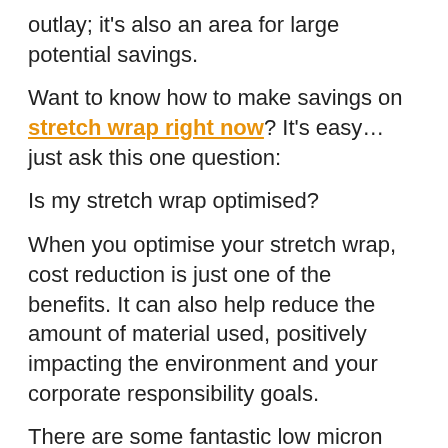outlay; it's also an area for large potential savings.
Want to know how to make savings on stretch wrap right now? It's easy… just ask this one question:
Is my stretch wrap optimised?
When you optimise your stretch wrap, cost reduction is just one of the benefits. It can also help reduce the amount of material used, positively impacting the environment and your corporate responsibility goals.
There are some fantastic low micron performance stretch films out there that can offer a real cost saving whilst delivering everything you would expect from a higher micron such as exceptional load retention.